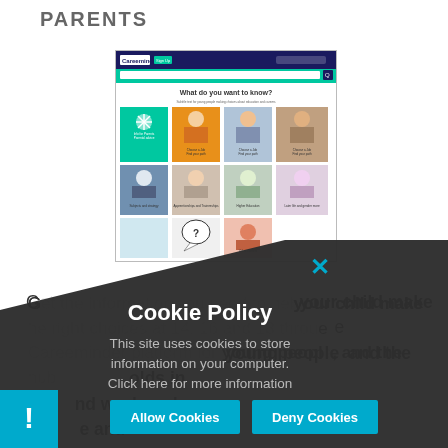PARENTS
[Figure (screenshot): Screenshot of a website called Careerminder (or similar) showing a grid of images of young people with topic categories, on a dark navy blue navigation bar with teal search bar. Heading reads 'What do you want to know?']
Get the information you need to help your child make the right choices at 14, 16 and 18 through the Careerminder platform for young people, and the hub...ar olds in  ...and work and  ...e and
[Figure (screenshot): Cookie Policy modal overlay on dark background with X close button. Title: 'Cookie Policy'. Body text: 'This site uses cookies to store information on your computer. Click here for more information'. Two buttons: 'Allow Cookies' and 'Deny Cookies'. Warning icon at bottom left.]